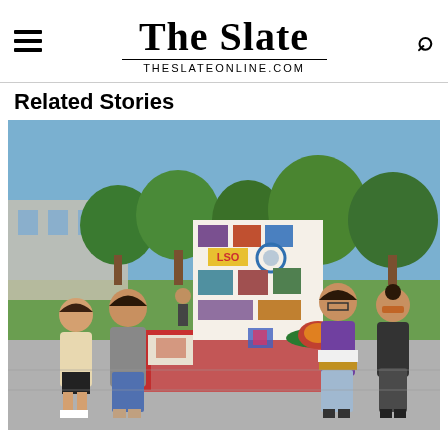The Slate — THESLATEONLINE.COM
Related Stories
[Figure (photo): Four students standing at a table outdoors at a campus fair, displaying an LSO (Latin Student Organization) poster board with colorful photos and decorations, including a decorated sombrero and patterned items on the table. Green trees and a building visible in the background on a sunny day.]